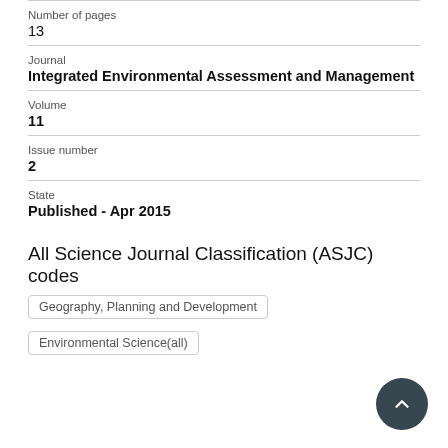Number of pages
13
Journal
Integrated Environmental Assessment and Management
Volume
11
Issue number
2
State
Published - Apr 2015
All Science Journal Classification (ASJC) codes
Geography, Planning and Development
Environmental Science(all)